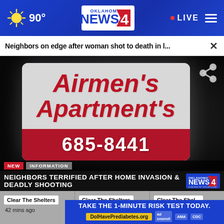Oklahoma's News 4 — 90° — LIVE
Neighbors on edge after woman shot to death in l...
[Figure (photo): Nighttime photo of 'Airmen's Apartment's' sign showing phone number 685-8441, with a TV news lower-third overlay reading 'NEIGHBORS TERRIFIED AFTER HOME INVASION & DEADLY SHOOTING' on Oklahoma's News 4]
NEW  INFORMATION
NEIGHBORS TERRIFIED AFTER HOME INVASION & DEADLY SHOOTING
Clear The Shelters  42 mins ago
Clear The Shelters  2 days ago
Clear The Shelters  25 mins ago
TAKE THE 1-MINUTE RISK TEST TODAY.  DoIHavePrediabetes.org